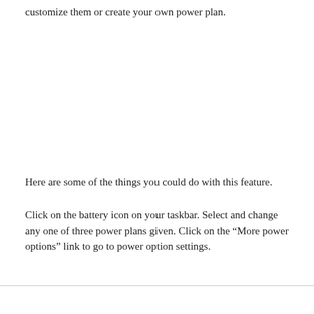customize them or create your own power plan.
Here are some of the things you could do with this feature.
Click on the battery icon on your taskbar. Select and change any one of three power plans given. Click on the “More power options” link to go to power option settings.